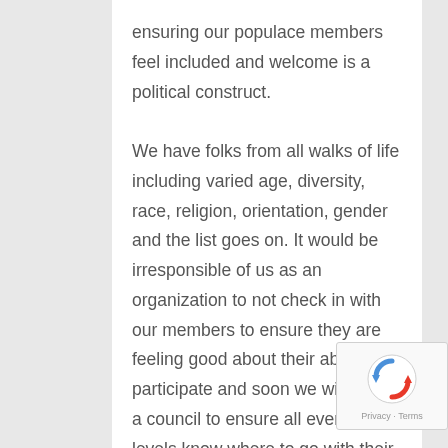ensuring our populace members feel included and welcome is a political construct. We have folks from all walks of life including varied age, diversity, race, religion, orientation, gender and the list goes on. It would be irresponsible of us as an organization to not check in with our members to ensure they are feeling good about their ability to participate and soon we will have a council to ensure all events and levels know where to go with their questions about such things as:
[Figure (other): reCAPTCHA badge with spinning arrows logo, Privacy and Terms links]